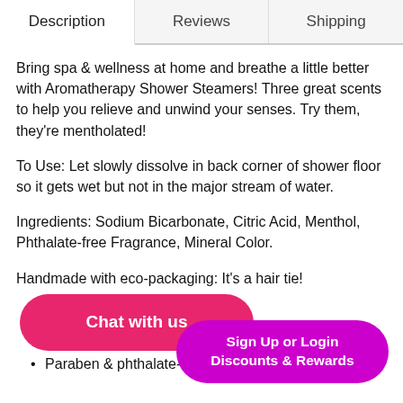Description | Reviews | Shipping
Bring spa & wellness at home and breathe a little better with Aromatherapy Shower Steamers! Three great scents to help you relieve and unwind your senses. Try them, they're mentholated!
To Use: Let slowly dissolve in back corner of shower floor so it gets wet but not in the major stream of water.
Ingredients: Sodium Bicarbonate, Citric Acid, Menthol, Phthalate-free Fragrance, Mineral Color.
Handmade with eco-packaging: It's a hair tie!
ers.
Vegan and cruelty-free
Paraben & phthalate-free
Chat with us
Sign Up or Login Discounts & Rewards